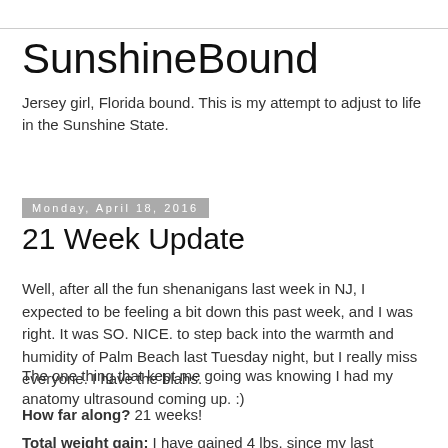SunshineBound
Jersey girl, Florida bound. This is my attempt to adjust to life in the Sunshine State.
Monday, April 18, 2016
21 Week Update
Well, after all the fun shenanigans last week in NJ, I expected to be feeling a bit down this past week, and I was right. It was SO. NICE. to step back into the warmth and humidity of Palm Beach last Tuesday night, but I really miss everyone. I have the blahs.
The one thing that kept me going was knowing I had my anatomy ultrasound coming up. :)
How far along? 21 weeks!
Total weight gain: I have gained 4 lbs. since my last